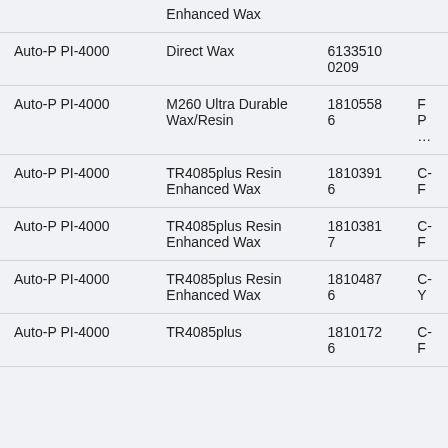|  | Enhanced Wax |  |  |
| --- | --- | --- | --- |
| Auto-P PI-4000 | Direct Wax | 61335100209 |  |
| Auto-P PI-4000 | M260 Ultra Durable Wax/Resin | 18105586 | FP… |
| Auto-P PI-4000 | TR4085plus Resin Enhanced Wax | 18103916 | C-F |
| Auto-P PI-4000 | TR4085plus Resin Enhanced Wax | 18103817 | C-F |
| Auto-P PI-4000 | TR4085plus Resin Enhanced Wax | 18104876 | C-Y |
| Auto-P PI-4000 | TR4085plus | 18101726 | C-F |